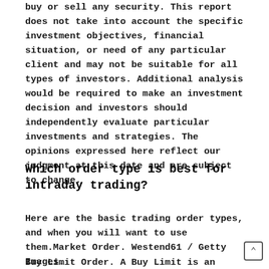buy or sell any security. This report does not take into account the specific investment objectives, financial situation, or need of any particular client and may not be suitable for all types of investors. Additional analysis would be required to make an investment decision and investors should independently evaluate particular investments and strategies. The opinions expressed here reflect our judgment at this date and are subject to change.
Which order type is best for intraday trading?
Here are the basic trading order types, and when you will want to use them.Market Order. Westend61 / Getty Images.
Buy Limit Order. A Buy Limit is an order to buy that is